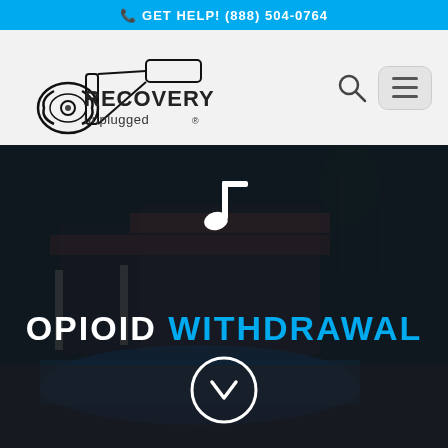GET HELP! (888) 504-0764
[Figure (logo): Recovery Unplugged logo with guitar outline and music note]
[Figure (photo): Background photo of a rehabilitation facility with pool, patio chairs, palm trees, and building under dark overlay]
OPIOID WITHDRAWAL